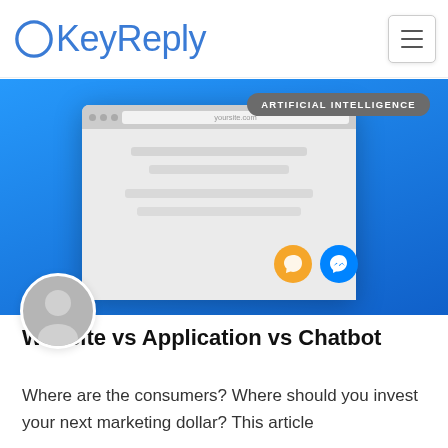KeyReply
[Figure (screenshot): Hero image showing a browser window mockup on a blue gradient background with chat widget icons (orange and blue messenger icon). A dark grey badge reads ARTIFICIAL INTELLIGENCE in the top right.]
[Figure (illustration): Circular grey avatar/profile placeholder icon]
Website vs Application vs Chatbot
Where are the consumers? Where should you invest your next marketing dollar? This article